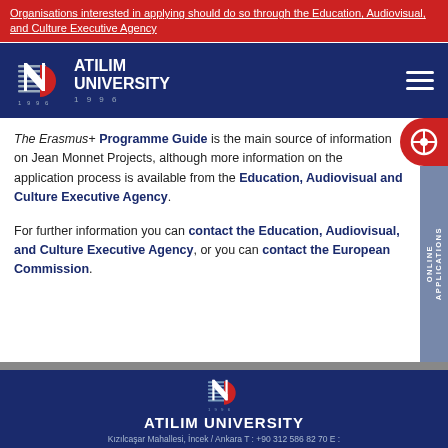Organisations interested in applying should do so through the Education, Audiovisual, and Culture Executive Agency
[Figure (logo): Atilim University logo with globe icon and text, blue background, hamburger menu icon]
The Erasmus+ Programme Guide is the main source of information on Jean Monnet Projects, although more information on the application process is available from the Education, Audiovisual and Culture Executive Agency.

For further information you can contact the Education, Audiovisual, and Culture Executive Agency, or you can contact the European Commission.
[Figure (logo): Atilim University footer logo with globe icon, year 1996, university name and address]
Kızılcaşar Mahallesi, İncek / Ankara T : +90 312 586 82 70 E :